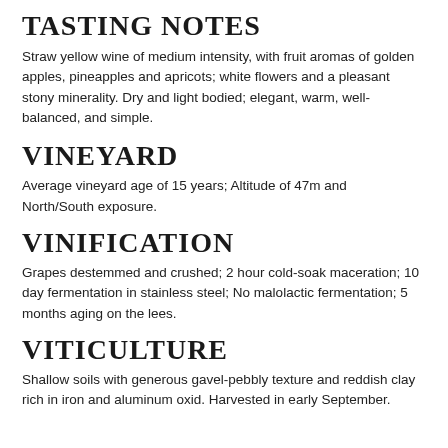TASTING NOTES
Straw yellow wine of medium intensity, with fruit aromas of golden apples, pineapples and apricots; white flowers and a pleasant stony minerality. Dry and light bodied; elegant, warm, well-balanced, and simple.
VINEYARD
Average vineyard age of 15 years; Altitude of 47m and North/South exposure.
VINIFICATION
Grapes destemmed and crushed; 2 hour cold-soak maceration; 10 day fermentation in stainless steel; No malolactic fermentation; 5 months aging on the lees.
VITICULTURE
Shallow soils with generous gavel-pebbly texture and reddish clay rich in iron and aluminum oxid. Harvested in early September.